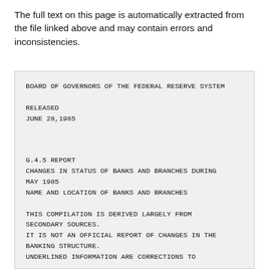The full text on this page is automatically extracted from the file linked above and may contain errors and inconsistencies.
BOARD OF GOVERNORS OF THE FEDERAL RESERVE SYSTEM

RELEASED
JUNE 28,1985




G.4.5 REPORT
CHANGES IN STATUS OF BANKS AND BRANCHES DURING MAY 1985
NAME AND LOCATION OF BANKS AND BRANCHES

THIS COMPILATION IS DERIVED LARGELY FROM SECONDARY SOURCES.
IT IS NOT AN OFFICIAL REPORT OF CHANGES IN THE BANKING STRUCTURE.
UNDERLINED INFORMATION ARE CORRECTIONS TO